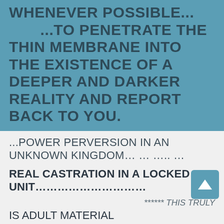WHENEVER POSSIBLE... ... ...TO PENETRATE THE THIN MEMBRANE INTO THE EXISTENCE OF A DEEPER AND DARKER REALITY AND REPORT BACK TO YOU.
...POWER PERVERSION IN AN UNKNOWN KINGDOM… … ….. …
REAL CASTRATION IN A LOCKED UNIT……………………….
****** THIS TRULY
IS ADULT MATERIAL